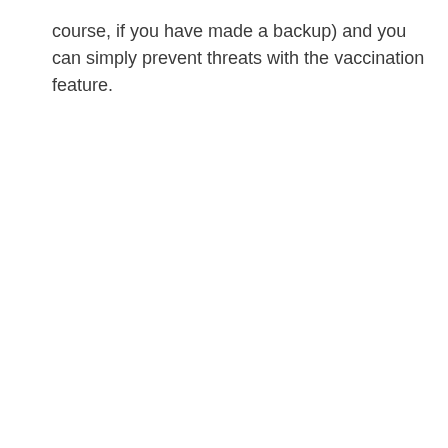course, if you have made a backup) and you can simply prevent threats with the vaccination feature.